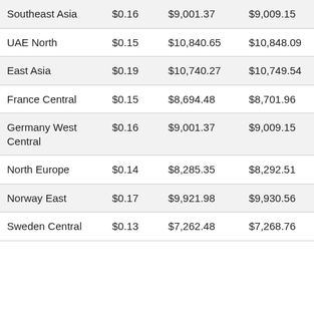| Southeast Asia | $0.16 | $9,001.37 | $9,009.15 | $9,149.09 |
| UAE North | $0.15 | $10,840.65 | $10,848.09 | $10,982.12 |
| East Asia | $0.19 | $10,740.27 | $10,749.54 | $10,916.42 |
| France Central | $0.15 | $8,694.48 | $8,701.96 | $8,836.65 |
| Germany West Central | $0.16 | $9,001.37 | $9,009.15 | $9,149.09 |
| North Europe | $0.14 | $8,285.35 | $8,292.51 | $8,421.28 |
| Norway East | $0.17 | $9,921.98 | $9,930.56 | $10,084.95 |
| Sweden Central | $0.13 | $7,262.48 | $7,268.76 | $7,381.76 |